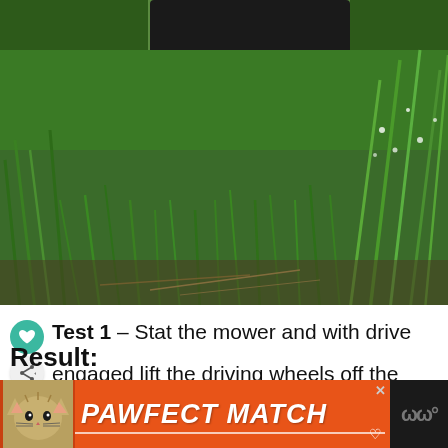[Figure (photo): Close-up ground-level photograph of green grass with a lawn mower visible in the background, dew drops visible on grass blades]
Test 1 – Stat the mower and with drive engaged lift the driving wheels off the ground.
Result:
[Figure (photo): Advertisement banner: PAWFECT MATCH with cat image on orange background]